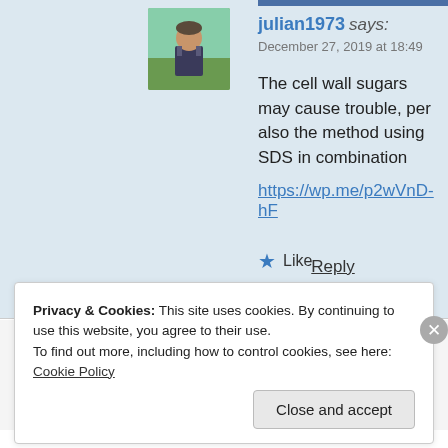[Figure (photo): Avatar photo of user julian1973, a person outdoors]
julian1973 says:
December 27, 2019 at 18:49
The cell wall sugars may cause trouble, per also the method using SDS in combination
https://wp.me/p2wVnD-hF
Like
Reply
Privacy & Cookies: This site uses cookies. By continuing to use this website, you agree to their use.
To find out more, including how to control cookies, see here: Cookie Policy
Close and accept